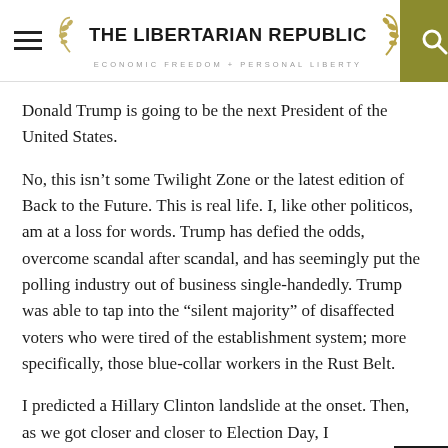THE LIBERTARIAN REPUBLIC — ECONOMIC FREEDOM + PERSONAL LIBERTY
Donald Trump is going to be the next President of the United States.
No, this isn't some Twilight Zone or the latest edition of Back to the Future. This is real life. I, like other politicos, am at a loss for words. Trump has defied the odds, overcome scandal after scandal, and has seemingly put the polling industry out of business single-handedly. Trump was able to tap into the “silent majority” of disaffected voters who were tired of the establishment system; more specifically, those blue-collar workers in the Rust Belt.
I predicted a Hillary Clinton landslide at the onset. Then, as we got closer and closer to Election Day, I